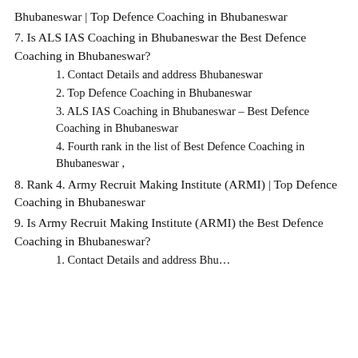Bhubaneswar | Top Defence Coaching in Bhubaneswar
7. Is ALS IAS Coaching in Bhubaneswar the Best Defence Coaching in Bhubaneswar?
1. Contact Details and address Bhubaneswar
2. Top Defence Coaching in Bhubaneswar
3. ALS IAS Coaching in Bhubaneswar – Best Defence Coaching in Bhubaneswar
4. Fourth rank in the list of Best Defence Coaching in Bhubaneswar ,
8. Rank 4. Army Recruit Making Institute (ARMI) | Top Defence Coaching in Bhubaneswar
9. Is Army Recruit Making Institute (ARMI) the Best Defence Coaching in Bhubaneswar?
1. Contact Details and address Bhu...